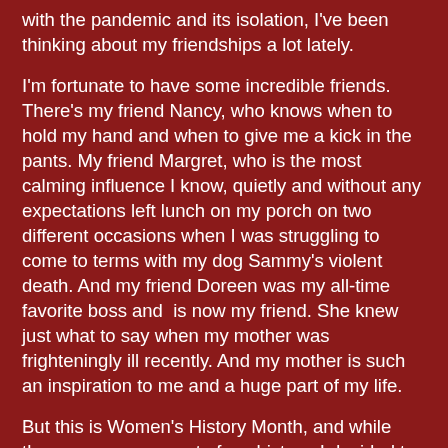with the pandemic and its isolation, I've been thinking about my friendships a lot lately.
I'm fortunate to have some incredible friends. There's my friend Nancy, who knows when to hold my hand and when to give me a kick in the pants. My friend Margret, who is the most calming influence I know, quietly and without any expectations left lunch on my porch on two different occasions when I was struggling to come to terms with my dog Sammy's violent death. And my friend Doreen was my all-time favorite boss and  is now my friend. She knew just what to say when my mother was frighteningly ill recently. And my mother is such an inspiration to me and a huge part of my life.
But this is Women's History Month, and while these women are part of my history, I decided to pick some historical figures who would be in my lifeboat. There are so many, but I narrowed it down.
Nellie Bly (1864-1922) was a groundbreaking investigative reporter whose undercover work in an insane asylum led to